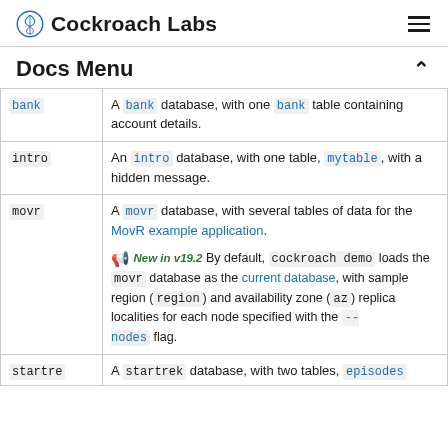Cockroach Labs
Docs Menu
| Name | Description |
| --- | --- |
| bank | A bank database, with one bank table containing account details. |
| intro | An intro database, with one table, mytable, with a hidden message. |
| movr | A movr database, with several tables of data for the MovR example application.
🔔 New in v19.2 By default, cockroach demo loads the movr database as the current database, with sample region (region) and availability zone (az) replica localities for each node specified with the --nodes flag. |
| startre | A startrek database, with two tables, episodes |